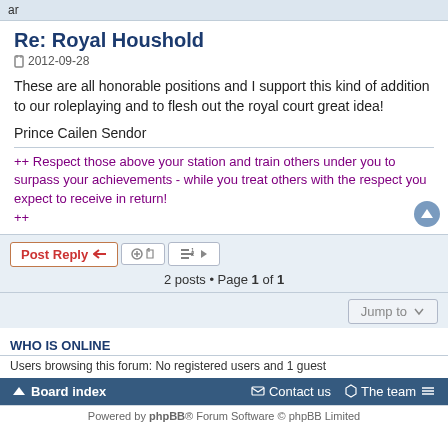ar
Re: Royal Houshold
2012-09-28
These are all honorable positions and I support this kind of addition to our roleplaying and to flesh out the royal court great idea!
Prince Cailen Sendor
++ Respect those above your station and train others under you to surpass your achievements - while you treat others with the respect you expect to receive in return! ++
2 posts • Page 1 of 1
WHO IS ONLINE
Users browsing this forum: No registered users and 1 guest
Board index   Contact us   The team
Powered by phpBB® Forum Software © phpBB Limited